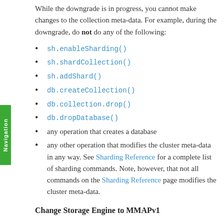While the downgrade is in progress, you cannot make changes to the collection meta-data. For example, during the downgrade, do not do any of the following:
sh.enableSharding()
sh.shardCollection()
sh.addShard()
db.createCollection()
db.collection.drop()
db.dropDatabase()
any operation that creates a database
any other operation that modifies the cluster meta-data in any way. See Sharding Reference for a complete list of sharding commands. Note, however, that not all commands on the Sharding Reference page modifies the cluster meta-data.
Change Storage Engine to MMAPv1